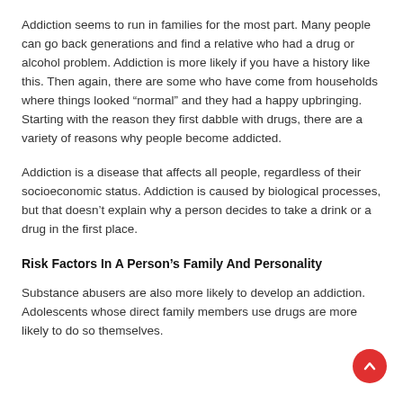Addiction seems to run in families for the most part. Many people can go back generations and find a relative who had a drug or alcohol problem. Addiction is more likely if you have a history like this. Then again, there are some who have come from households where things looked “normal” and they had a happy upbringing. Starting with the reason they first dabble with drugs, there are a variety of reasons why people become addicted.
Addiction is a disease that affects all people, regardless of their socioeconomic status. Addiction is caused by biological processes, but that doesn’t explain why a person decides to take a drink or a drug in the first place.
Risk Factors In A Person’s Family And Personality
Substance abusers are also more likely to develop an addiction. Adolescents whose direct family members use drugs are more likely to do so themselves.